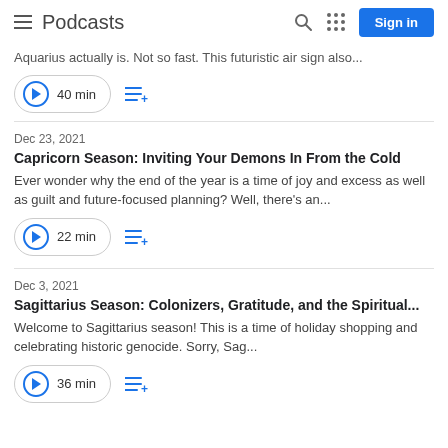Podcasts
Aquarius actually is. Not so fast. This futuristic air sign also...
40 min
Dec 23, 2021
Capricorn Season: Inviting Your Demons In From the Cold
Ever wonder why the end of the year is a time of joy and excess as well as guilt and future-focused planning? Well, there's an...
22 min
Dec 3, 2021
Sagittarius Season: Colonizers, Gratitude, and the Spiritual...
Welcome to Sagittarius season! This is a time of holiday shopping and celebrating historic genocide. Sorry, Sag...
36 min